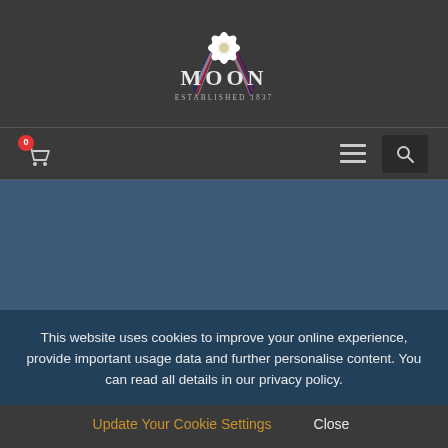[Figure (logo): Moon Established 1837 logo with two Union Jack flags crossed and a white rose in the center, text MOON in large letters and ESTABLISHED 1837 below]
[Figure (other): Navigation bar with shopping cart icon showing badge '0', hamburger menu icon, and search icon button]
[Figure (other): Blue-grey banner section]
This website uses cookies to improve your online experience, provide important usage data and further personalise content. You can read all details in our privacy policy.
Update Your Cookie Settings  Close